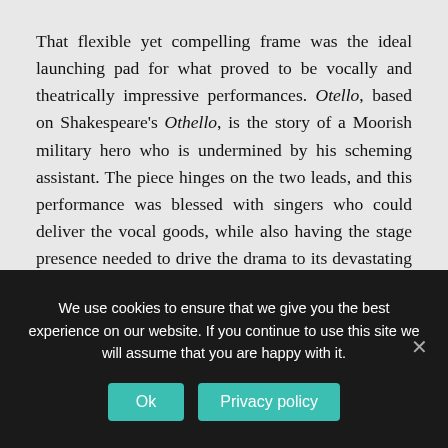That flexible yet compelling frame was the ideal launching pad for what proved to be vocally and theatrically impressive performances. Otello, based on Shakespeare's Othello, is the story of a Moorish military hero who is undermined by his scheming assistant. The piece hinges on the two leads, and this performance was blessed with singers who could deliver the vocal goods, while also having the stage presence needed to drive the drama to its devastating close.
Limmie Pulliam is becoming increasingly known for his Otello, and not simply because he fulfills
We use cookies to ensure that we give you the best experience on our website. If you continue to use this site we will assume that you are happy with it.